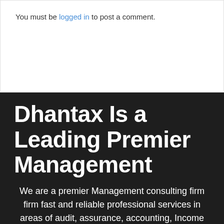You must be logged in to post a comment.
Dhantax Is a Leading Premier Management
We are a premier Management consulting firm firm fast and reliable professional services in areas of audit, assurance, accounting, Income tax, Goods and Service Tax, Corporate Governance Services,